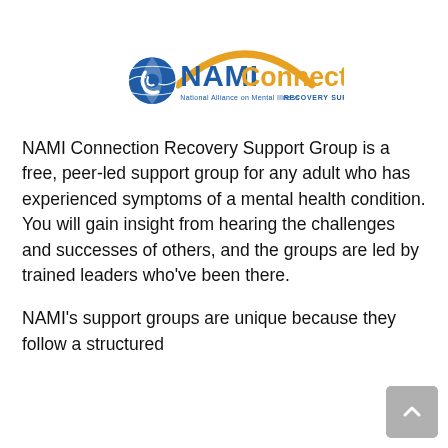[Figure (logo): NAMI Connection Recovery Support Group logo — blue NAMI globe icon, blue 'NAMI' text, gold arch, gold 'Connection' text, and 'National Alliance on Mental Illness  RECOVERY SUPPORT GROUP' below]
NAMI Connection Recovery Support Group is a free, peer-led support group for any adult who has experienced symptoms of a mental health condition. You will gain insight from hearing the challenges and successes of others, and the groups are led by trained leaders who've been there.
NAMI's support groups are unique because they follow a structured